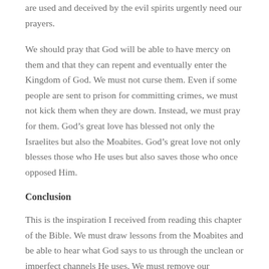are used and deceived by the evil spirits urgently need our prayers.
We should pray that God will be able to have mercy on them and that they can repent and eventually enter the Kingdom of God. We must not curse them. Even if some people are sent to prison for committing crimes, we must not kick them when they are down. Instead, we must pray for them. God’s great love has blessed not only the Israelites but also the Moabites. God’s great love not only blesses those who He uses but also saves those who once opposed Him.
Conclusion
This is the inspiration I received from reading this chapter of the Bible. We must draw lessons from the Moabites and be able to hear what God says to us through the unclean or imperfect channels He uses. We must remove our prejudice so that we can hear